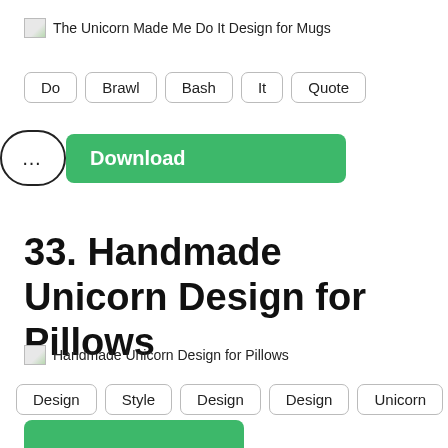[Figure (other): Broken image placeholder for 'The Unicorn Made Me Do It Design for Mugs']
Do
Brawl
Bash
It
Quote
... Download
33. Handmade Unicorn Design for Pillows
[Figure (other): Broken image placeholder for 'Handmade Unicorn Design for Pillows']
Design
Style
Design
Design
Unicorn